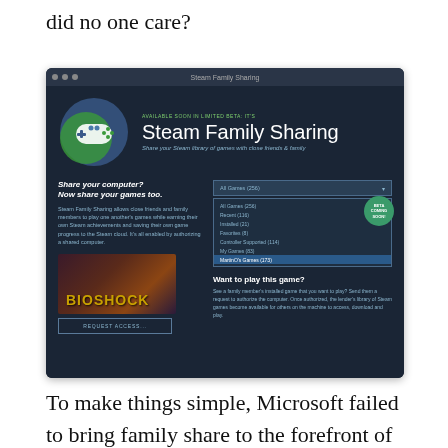did no one care?
[Figure (screenshot): Screenshot of Steam Family Sharing interface showing a dark-themed Steam window with the heading 'Steam Family Sharing', a game controller logo, dropdown menu showing game libraries including 'MartinO's Games (173)', a BioShock game image with 'REQUEST ACCESS...' button, and a 'BETA COMING SOON!' badge. The interface describes sharing your Steam library of games with close friends & family.]
To make things simple, Microsoft failed to bring family share to the forefront of the conversation. During presentations there were points about check-ins, online